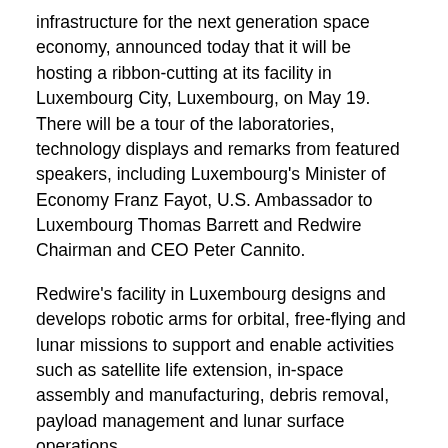infrastructure for the next generation space economy, announced today that it will be hosting a ribbon-cutting at its facility in Luxembourg City, Luxembourg, on May 19. There will be a tour of the laboratories, technology displays and remarks from featured speakers, including Luxembourg's Minister of Economy Franz Fayot, U.S. Ambassador to Luxembourg Thomas Barrett and Redwire Chairman and CEO Peter Cannito.
Redwire's facility in Luxembourg designs and develops robotic arms for orbital, free-flying and lunar missions to support and enable activities such as satellite life extension, in-space assembly and manufacturing, debris removal, payload management and lunar surface operations.
Participating media are invited to arrive at 18:00 at Redwire's Luxembourg facility located at 10 Rue Henri M. Schnadt, 1811 Luxembourg. The ribbon-cutting will take place at 18:30, followed by remarks from featured speakers and a tour of the laboratories.